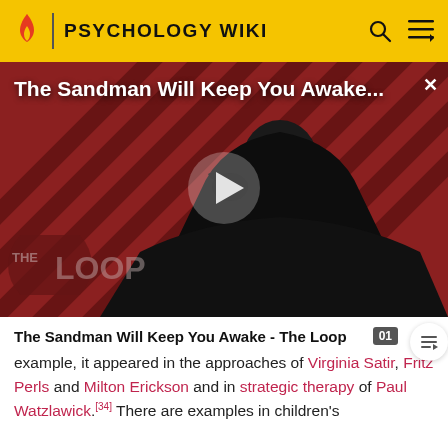PSYCHOLOGY WIKI
[Figure (screenshot): Video thumbnail for 'The Sandman Will Keep You Awake - The Loop' showing a dark-cloaked figure against a red diagonal striped background, with a play button overlay and 'THE LOOP' watermark at bottom left.]
The Sandman Will Keep You Awake - The Loop
example, it appeared in the approaches of Virginia Satir, Fritz Perls and Milton Erickson and in strategic therapy of Paul Watzlawick.[34] There are examples in children's